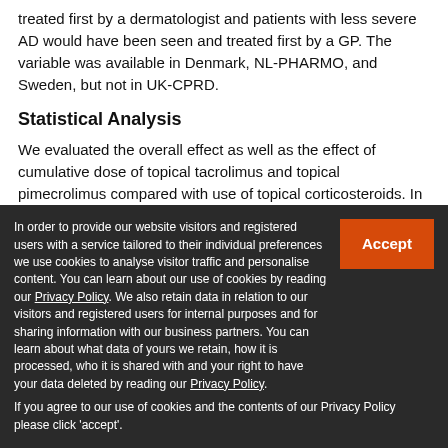treated first by a dermatologist and patients with less severe AD would have been seen and treated first by a GP. The variable was available in Denmark, NL-PHARMO, and Sweden, but not in UK-CPRD.
Statistical Analysis
We evaluated the overall effect as well as the effect of cumulative dose of topical tacrolimus and topical pimecrolimus compared with use of topical corticosteroids. In each data source, cancer events and person-years were stratified between decile boundaries of PSs.9 We then used Mantel-Haenszel methods10 to estimate overall adjusted
In order to provide our website visitors and registered users with a service tailored to their individual preferences we use cookies to analyse visitor traffic and personalise content. You can learn about our use of cookies by reading our Privacy Policy. We also retain data in relation to our visitors and registered users for internal purposes and for sharing information with our business partners. You can learn about what data of yours we retain, how it is processed, who it is shared with and your right to have your data deleted by reading our Privacy Policy.

If you agree to our use of cookies and the contents of our Privacy Policy please click 'accept'.